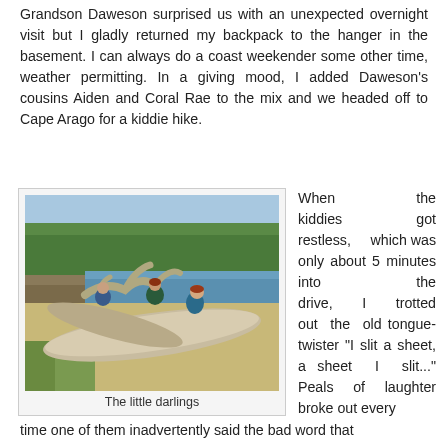Grandson Daweson surprised us with an unexpected overnight visit but I gladly returned my backpack to the hanger in the basement. I can always do a coast weekender some other time, weather permitting. In a giving mood, I added Daweson's cousins Aiden and Coral Rae to the mix and we headed off to Cape Arago for a kiddie hike.
[Figure (photo): Three children playing and climbing on large driftwood logs on a beach at Cape Arago, with water and a forested shoreline in the background.]
The little darlings
When the kiddies got restless, which was only about 5 minutes into the drive, I trotted out the old tongue-twister "I slit a sheet, a sheet I slit..." Peals of laughter broke out every time one of them inadvertently said the bad word that